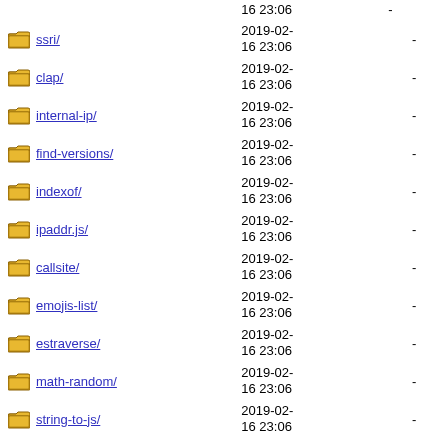16 23:06  -
ssri/  2019-02-16 23:06  -
clap/  2019-02-16 23:06  -
internal-ip/  2019-02-16 23:06  -
find-versions/  2019-02-16 23:06  -
indexof/  2019-02-16 23:06  -
ipaddr.js/  2019-02-16 23:06  -
callsite/  2019-02-16 23:06  -
emojis-list/  2019-02-16 23:06  -
estraverse/  2019-02-16 23:06  -
math-random/  2019-02-16 23:06  -
string-to-js/  2019-02-16 23:06  -